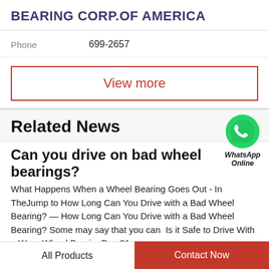BEARING CORP.OF AMERICA
Phone   699-2657
View more
Related News
[Figure (illustration): WhatsApp green circle icon with phone handset]
WhatsApp Online
Can you drive on bad wheel bearings?
What Happens When a Wheel Bearing Goes Out - In TheJump to How Long Can You Drive with a Bad Wheel Bearing? — How Long Can You Drive with a Bad Wheel Bearing? Some may say that you can  Is it Safe to Drive With a Worn Wheel BearingDec 31,...
All Products   Contact Now